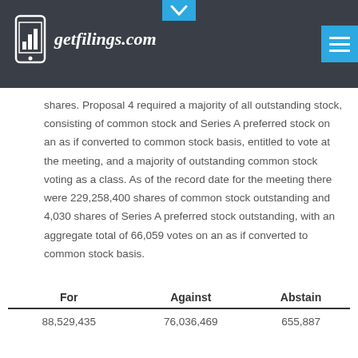getfilings.com
shares. Proposal 4 required a majority of all outstanding stock, consisting of common stock and Series A preferred stock on an as if converted to common stock basis, entitled to vote at the meeting, and a majority of outstanding common stock voting as a class. As of the record date for the meeting there were 229,258,400 shares of common stock outstanding and 4,030 shares of Series A preferred stock outstanding, with an aggregate total of 66,059 votes on an as if converted to common stock basis.
| For | Against | Abstain |
| --- | --- | --- |
| 88,529,435 | 76,036,469 | 655,887 |